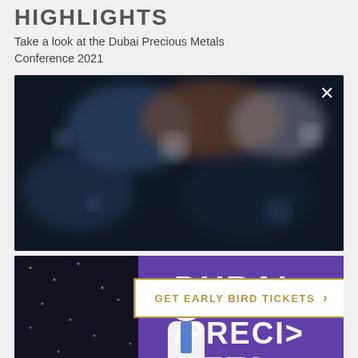HIGHLIGHTS
Take a look at the Dubai Precious Metals Conference 2021
[Figure (photo): Blurred conference hall photo with bokeh lighting effects, dark blue tones with orange and white light blurs, with an X close button in the top right corner]
[Figure (photo): Photo of a speaker at the Dubai Precious Metals Conference, man in white clothing with a lanyard, purple backdrop with 'DUBAI PRECIOUS METALS' text, with a 'GET EARLY BIRD TICKETS' call-to-action button overlay]